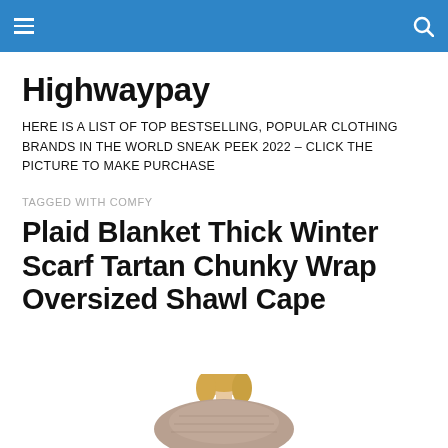Highwaypay — navigation header with hamburger menu and search icon
Highwaypay
HERE IS A LIST OF TOP BESTSELLING, POPULAR CLOTHING BRANDS IN THE WORLD SNEAK PEEK 2022 – CLICK THE PICTURE TO MAKE PURCHASE
TAGGED WITH COMFY
Plaid Blanket Thick Winter Scarf Tartan Chunky Wrap Oversized Shawl Cape
[Figure (photo): Partial view of a woman with blonde hair wearing a scarf/wrap, cropped at the bottom of the page]